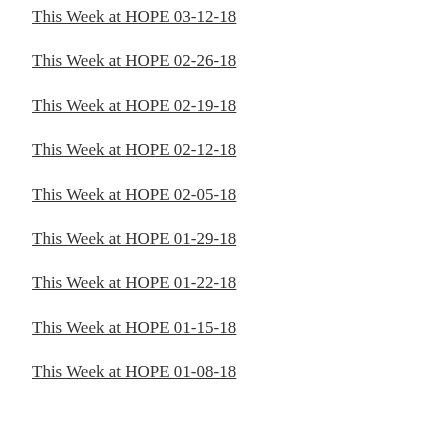This Week at HOPE 03-12-18
This Week at HOPE 02-26-18
This Week at HOPE 02-19-18
This Week at HOPE 02-12-18
This Week at HOPE 02-05-18
This Week at HOPE 01-29-18
This Week at HOPE 01-22-18
This Week at HOPE 01-15-18
This Week at HOPE 01-08-18